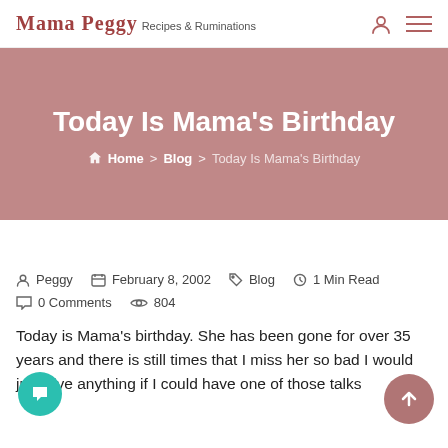Mama Peggy Recipes & Ruminations
Today Is Mama's Birthday
Home > Blog > Today Is Mama's Birthday
Peggy  February 8, 2002  Blog  1 Min Read
0 Comments  804
Today is Mama's birthday. She has been gone for over 35 years and there is still times that I miss her so bad I would just give anything if I could have one of those talks